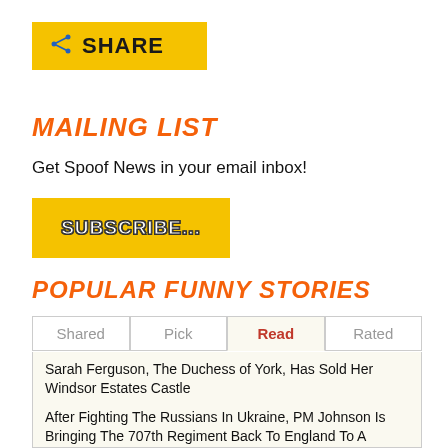[Figure (other): Yellow Share button with share icon and bold uppercase text SHARE]
MAILING LIST
Get Spoof News in your email inbox!
[Figure (other): Yellow Subscribe button with bold uppercase text SUBSCRIBE...]
POPULAR FUNNY STORIES
Tabs: Shared | Pick | Read (active) | Rated
Sarah Ferguson, The Duchess of York, Has Sold Her Windsor Estates Castle
After Fighting The Russians In Ukraine, PM Johnson Is Bringing The 707th Regiment Back To England To A Hero's Welcome
Prince Charles Is Telling The People of England